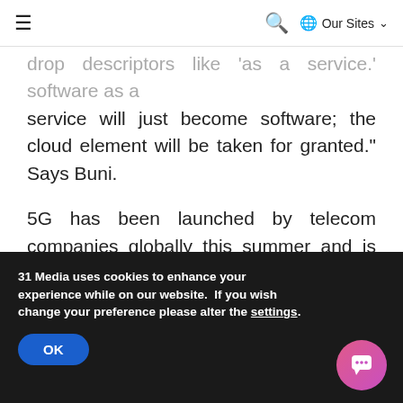≡  🔍  🌐 Our Sites ∨
drop descriptors like 'as a service.' Software as a service will just become software; the cloud element will be taken for granted." Says Buni.
5G has been launched by telecom companies globally this summer and is available in 6 cities across the UK.
31 Media uses cookies to enhance your experience while on our website.  If you wish change your preference please alter the settings.
OK